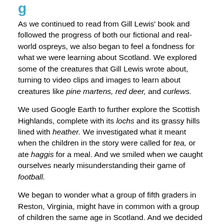g
As we continued to read from Gill Lewis' book and followed the progress of both our fictional and real-world ospreys, we also began to feel a fondness for what we were learning about Scotland. We explored some of the creatures that Gill Lewis wrote about, turning to video clips and images to learn about creatures like pine martens, red deer, and curlews.
We used Google Earth to further explore the Scottish Highlands, complete with its lochs and its grassy hills lined with heather. We investigated what it meant when the children in the story were called for tea, or ate haggis for a meal. And we smiled when we caught ourselves nearly misunderstanding their game of football.
We began to wonder what a group of fifth graders in Reston, Virginia, might have in common with a group of children the same age in Scotland. And we decided that there must be a way to find out.
Once again, as luck would have it, the author of the book was able to link us with a school in Scotland that was set right at the